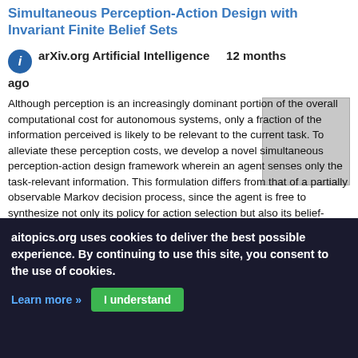Simultaneous Perception-Action Design with Invariant Finite Belief Sets
arXiv.org Artificial Intelligence   12 months ago
Although perception is an increasingly dominant portion of the overall computational cost for autonomous systems, only a fraction of the information perceived is likely to be relevant to the current task. To alleviate these perception costs, we develop a novel simultaneous perception-action design framework wherein an agent senses only the task-relevant information. This formulation differs from that of a partially observable Markov decision process, since the agent is free to synthesize not only its policy for action selection but also its belief-dependent observation function. The
[Figure (photo): Thumbnail image placeholder (gray rectangle)]
aitopics.org uses cookies to deliver the best possible experience. By continuing to use this site, you consent to the use of cookies.
Learn more »   I understand